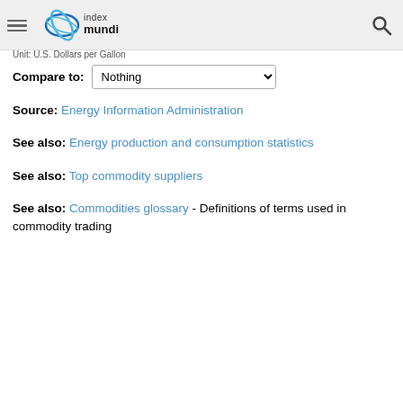index mundi [logo with hamburger menu and search icon]
Compare to: Nothing
Source: Energy Information Administration
See also: Energy production and consumption statistics
See also: Top commodity suppliers
See also: Commodities glossary - Definitions of terms used in commodity trading